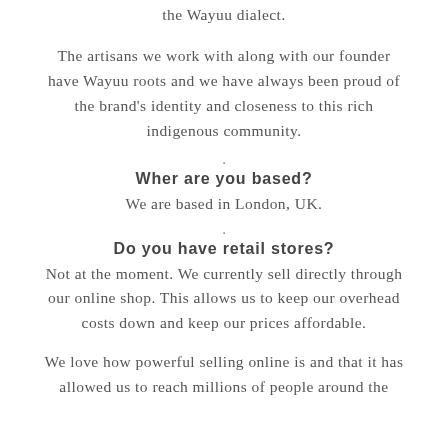the Wayuu dialect.
The artisans we work with along with our founder have Wayuu roots and we have always been proud of the brand's identity and closeness to this rich indigenous community.
.
Wher are you based?
We are based in London, UK.
.
Do you have retail stores?
Not at the moment. We currently sell directly through our online shop. This allows us to keep our overhead costs down and keep our prices affordable.
We love how powerful selling online is and that it has allowed us to reach millions of people around the